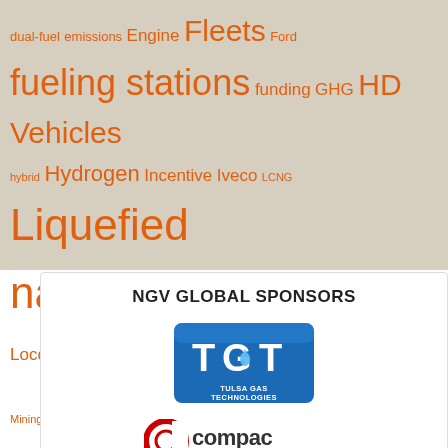[Figure (infographic): Tag cloud of NGV (Natural Gas Vehicle) related terms in orange on a tan/beige background. Terms include: dual-fuel, emissions, Engine, Fleets, Ford, fueling stations, funding, GHG, HD Vehicles, hybrid, Hydrogen, Incentive, Iveco, LCNG, Liquefied natural gas, LNG, lobbying, Locomotive, Marine, Mining, motor racing, NGVA Europe, NGVAmerica, OEM, refuse vehicles, Reports, RNG, Scania, Standards and Regulations, Taxis, transit bus, urban bus, Volvo]
NGV GLOBAL SPONSORS
[Figure (logo): TGT - Tulsa Gas Technologies logo: blue square with TGT lettering and a drop icon, text below reads TULSA GAS TECHNOLOGIES]
[Figure (logo): Compac logo: red circular icon with C shape, text reads 'compac' with tagline PREMIUM DISPENSER TECHNOLOGY]